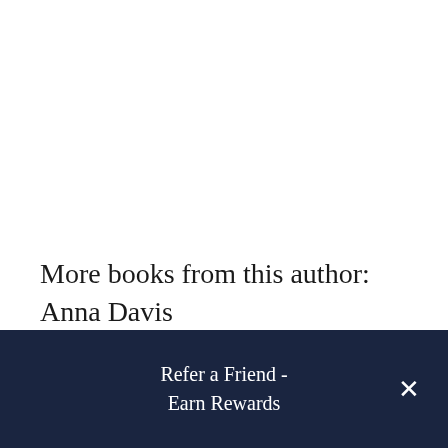More books from this author: Anna Davis
Refer a Friend - Earn Rewards